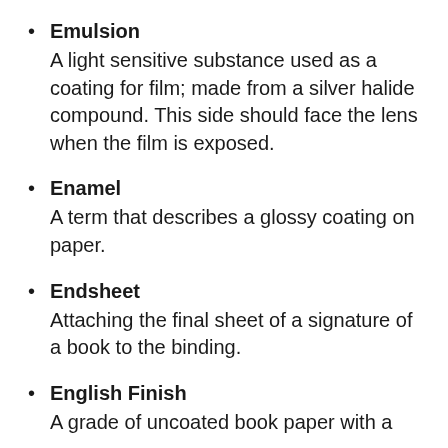Emulsion — A light sensitive substance used as a coating for film; made from a silver halide compound. This side should face the lens when the film is exposed.
Enamel — A term that describes a glossy coating on paper.
Endsheet — Attaching the final sheet of a signature of a book to the binding.
English Finish — A grade of uncoated book paper with a smooth, uniform surface.